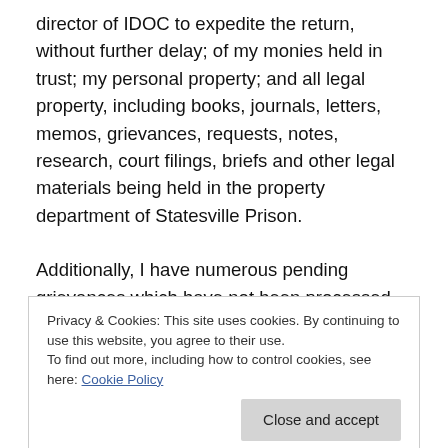director of IDOC to expedite the return, without further delay; of my monies held in trust; my personal property; and all legal property, including books, journals, letters, memos, grievances, requests, notes, research, court filings, briefs and other legal materials being held in the property department of Statesville Prison.
Additionally, I have numerous pending grievances which have not been processed or returned to me, and upon my transfer not forwarded; the same with my mail.
Ple... [partially visible]
Privacy & Cookies: This site uses cookies. By continuing to use this website, you agree to their use.
To find out more, including how to control cookies, see here: Cookie Policy
Close and accept
requests, (see enclosed letter) and I have received no